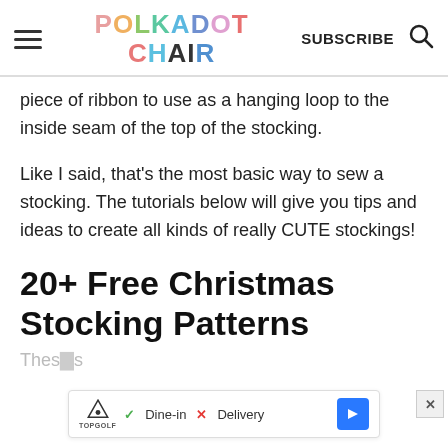POLKADOT CHAIR — SUBSCRIBE
piece of ribbon to use as a hanging loop to the inside seam of the top of the stocking.
Like I said, that's the most basic way to sew a stocking. The tutorials below will give you tips and ideas to create all kinds of really CUTE stockings!
20+ Free Christmas Stocking Patterns
These ... s
[Figure (other): Advertisement bar for TopGolf showing Dine-in with checkmark and Delivery with X mark, and a blue arrow button]